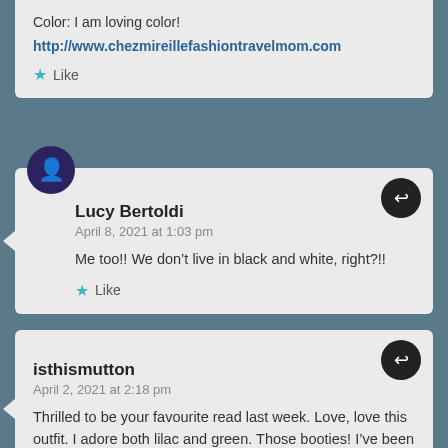Color: I am loving color! http://www.chezmireillefashiontravelmom.com
Like
Lucy Bertoldi
April 8, 2021 at 1:03 pm
Me too!! We don’t live in black and white, right?!!
Like
isthismutton
April 2, 2021 at 2:18 pm
Thrilled to be your favourite read last week. Love, love this outfit. I adore both lilac and green. Those booties! I’ve been hunting for lilac boots xx